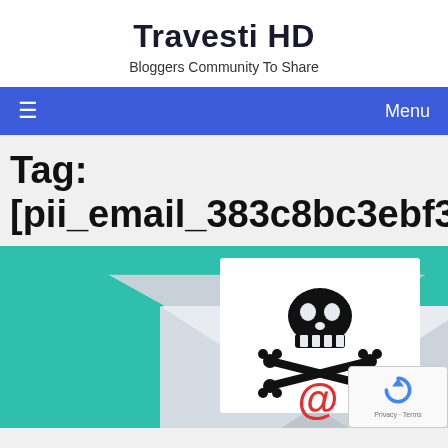Travesti HD
Bloggers Community To Share
≡   Menu
Tag: [pii_email_383c8bc3ebf3e340188
[Figure (illustration): Email security illustration showing an open envelope with a skull and crossbones symbol and an '@' symbol on a teal/green background]